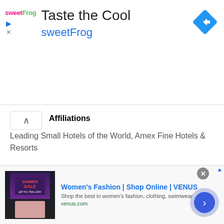[Figure (screenshot): SweetFrog advertisement banner with logo, 'Taste the Cool' headline, sweetFrog brand name in blue, and navigation diamond icon on the right]
Affiliations
Leading Small Hotels of the World, Amex Fine Hotels & Resorts
Accolades & Articles
"Refined resort in the peaceful Carmel Valley amid oak-covered hills, with a backdrop of the Santa Lucia Mountains, 15 minutes from Carmel. The rustic main building contains an inviting living room-lounge, a cozy library
[Figure (screenshot): Women's Fashion | Shop Online | VENUS advertisement banner with image, title, description 'Shop the best in women's fashion, clothing, swimwear', venus.com URL, close button, and next arrow button]